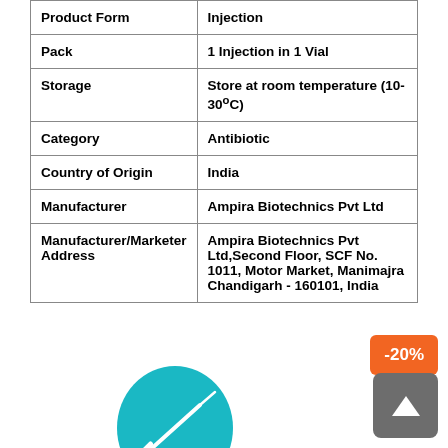| Field | Value |
| --- | --- |
| Product Form | Injection |
| Pack | 1 Injection in 1 Vial |
| Storage | Store at room temperature (10-30°C) |
| Category | Antibiotic |
| Country of Origin | India |
| Manufacturer | Ampira Biotechnics Pvt Ltd |
| Manufacturer/Marketer Address | Ampira Biotechnics Pvt Ltd,Second Floor, SCF No. 1011, Motor Market, Manimajra Chandigarh - 160101, India |
[Figure (infographic): Orange discount badge showing -20%]
[Figure (illustration): Teal circular icon with injection/syringe illustration]
[Figure (other): Grey scroll-to-top button with upward arrow]